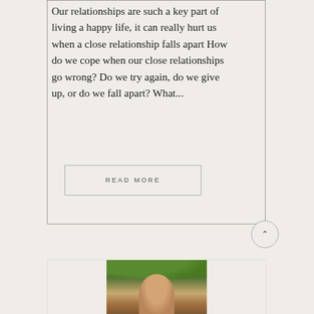Our relationships are such a key part of living a happy life, it can really hurt us when a close relationship falls apart How do we cope when our close relationships go wrong? Do we try again, do we give up, or do we fall apart? What...
READ MORE
[Figure (photo): Photo of a person outdoors with trees and foliage visible in background]